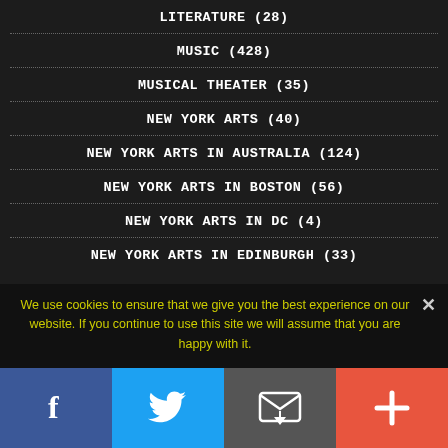LITERATURE (28)
MUSIC (428)
MUSICAL THEATER (35)
NEW YORK ARTS (40)
NEW YORK ARTS IN AUSTRALIA (124)
NEW YORK ARTS IN BOSTON (56)
NEW YORK ARTS IN DC (4)
NEW YORK ARTS IN EDINBURGH (33)
We use cookies to ensure that we give you the best experience on our website. If you continue to use this site we will assume that you are happy with it.
Facebook | Twitter | Email | Plus